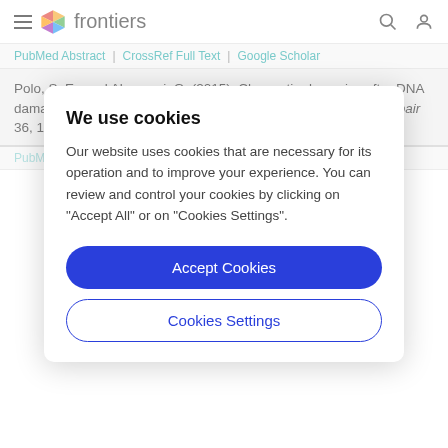frontiers
PubMed Abstract | CrossRef Full Text | Google Scholar
Polo, S. E., and Almouzni, G. (2015). Chromatin dynamics after DNA damage: the legacy of the access-repair-restore model. DNA Repair 36, 114–121. doi: 10.1016/j.dnarep.2015.09.014
PubMed Abstract | CrossRef Full Text | Google Scholar
We use cookies
Our website uses cookies that are necessary for its operation and to improve your experience. You can review and control your cookies by clicking on "Accept All" or on "Cookies Settings".
Accept Cookies
Cookies Settings